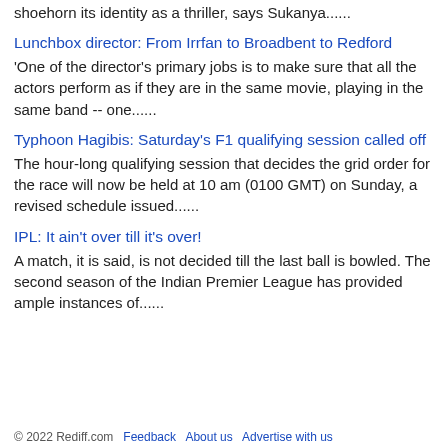shoehorn its identity as a thriller, says Sukanya......
Lunchbox director: From Irrfan to Broadbent to Redford
'One of the director's primary jobs is to make sure that all the actors perform as if they are in the same movie, playing in the same band -- one......
Typhoon Hagibis: Saturday's F1 qualifying session called off
The hour-long qualifying session that decides the grid order for the race will now be held at 10 am (0100 GMT) on Sunday, a revised schedule issued......
IPL: It ain't over till it's over!
A match, it is said, is not decided till the last ball is bowled. The second season of the Indian Premier League has provided ample instances of......
© 2022 Rediff.com   Feedback   About us   Advertise with us